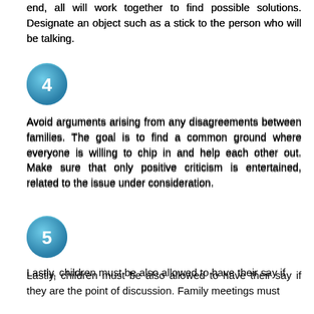end, all will work together to find possible solutions. Designate an object such as a stick to the person who will be talking.
[Figure (other): Blue circle with number 4]
Avoid arguments arising from any disagreements between families. The goal is to find a common ground where everyone is willing to chip in and help each other out. Make sure that only positive criticism is entertained, related to the issue under consideration.
[Figure (other): Blue circle with number 5]
Lastly, children must be also allowed to have their say if they are the point of discussion. Family meetings must encourage children to clear their stance if their actions have been called into question.
[Figure (other): Blue circle with number 6]
End the meeting on a fun note. This may include a group